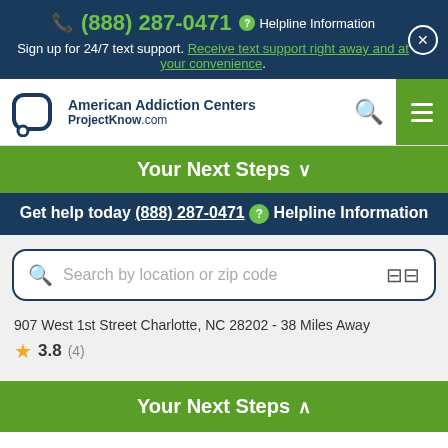(888) 287-0471  Helpline Information
Sign up for 24/7 text support. Receive text support right away and at your convenience.
[Figure (logo): American Addiction Centers / ProjectKnow.com logo with speech bubble icon]
Your Next Steps ∨
Get help today (888) 287-0471  Helpline Information
Search by location or zip code
907 West 1st Street Charlotte, NC 28202 - 38 Miles Away
★ 3.8 (4)
Your Next Steps ∧